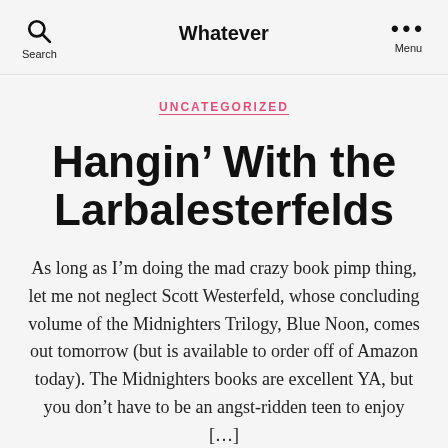Search  Whatever  Menu
UNCATEGORIZED
Hangin’ With the Larbalesterfelds
As long as I’m doing the mad crazy book pimp thing, let me not neglect Scott Westerfeld, whose concluding volume of the Midnighters Trilogy, Blue Noon, comes out tomorrow (but is available to order off of Amazon today). The Midnighters books are excellent YA, but you don’t have to be an angst-ridden teen to enjoy […]